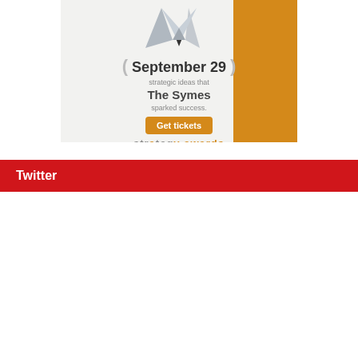[Figure (illustration): Strategy Awards advertisement banner showing an origami-style fox logo, date September 29, venue The Symes, tagline 'strategic ideas that sparked success', a Get tickets button, and 'strategy awards' branding. Orange triangle in top-right corner.]
Twitter